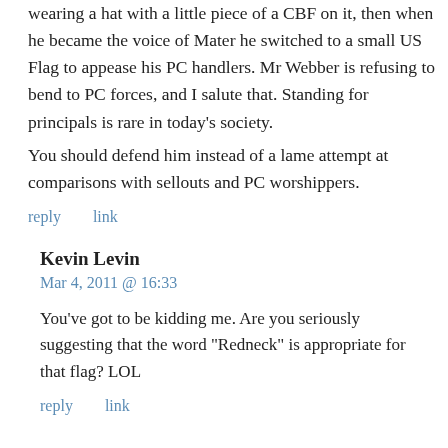wearing a hat with a little piece of a CBF on it, then when he became the voice of Mater he switched to a small US Flag to appease his PC handlers. Mr Webber is refusing to bend to PC forces, and I salute that. Standing for principals is rare in today's society.
You should defend him instead of a lame attempt at comparisons with sellouts and PC worshippers.
reply
link
Kevin Levin
Mar 4, 2011 @ 16:33
You've got to be kidding me. Are you seriously suggesting that the word “Redneck” is appropriate for that flag? LOL
reply
link